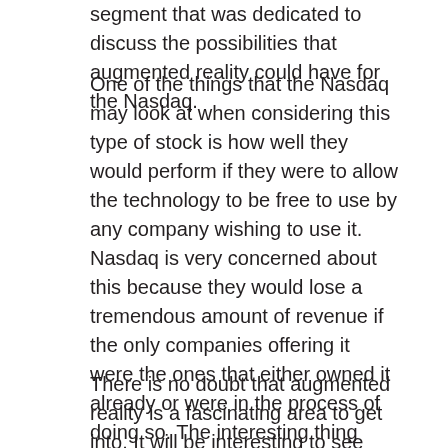segment that was dedicated to discuss the possibilities that augmented reality could have for the Nasdaq.
One of the things that the Nasdaq may look at when considering this type of stock is how well they would perform if they were to allow the technology to be free to use by any company wishing to use it. Nasdaq is very concerned about this because they would lose a tremendous amount of revenue if the only companies offering it were the ones that either owned it already or were in the process of doing so. The interesting thing about the SkyZoo situation is that they are not the only ones offering it. Neuromus does have an application though and it might just give them more exposure on the Nasdaq.
There is no doubt that augmented reality is a fascinating area to get into. It will be interesting to see how successful any company with an application for it can be once they are able to let it be free for all to use. When you